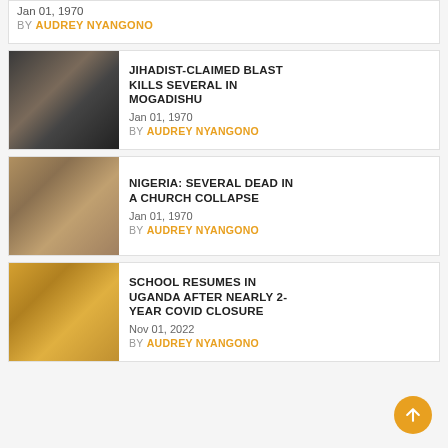Jan 01, 1970
BY AUDREY NYANGONO
JIHADIST-CLAIMED BLAST KILLS SEVERAL IN MOGADISHU
Jan 01, 1970
BY AUDREY NYANGONO
[Figure (photo): Destroyed building rubble and smoke from a blast in Mogadishu]
NIGERIA: SEVERAL DEAD IN A CHURCH COLLAPSE
Jan 01, 1970
BY AUDREY NYANGONO
[Figure (photo): People standing near collapsed church building rubble in Nigeria]
SCHOOL RESUMES IN UGANDA AFTER NEARLY 2-YEAR COVID CLOSURE
Nov 01, 2022
BY AUDREY NYANGONO
[Figure (photo): Empty school classroom in Uganda viewed from above]